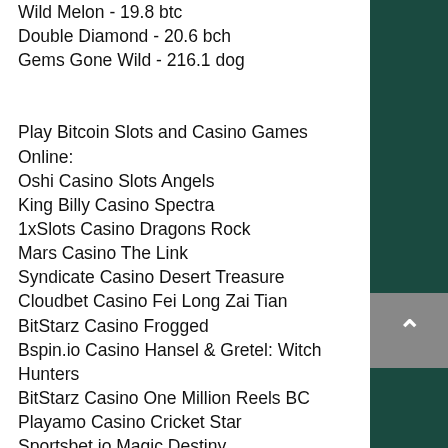Wild Melon - 19.8 btc
Double Diamond - 20.6 bch
Gems Gone Wild - 216.1 dog
Play Bitcoin Slots and Casino Games Online:
Oshi Casino Slots Angels
King Billy Casino Spectra
1xSlots Casino Dragons Rock
Mars Casino The Link
Syndicate Casino Desert Treasure
Cloudbet Casino Fei Long Zai Tian
BitStarz Casino Frogged
Bspin.io Casino Hansel & Gretel: Witch Hunters
BitStarz Casino One Million Reels BC
Playamo Casino Cricket Star
Sportsbet.io Magic Destiny
Diamond Reels Casino Pinocchio
Oshi Casino Age of the Gods Prince of